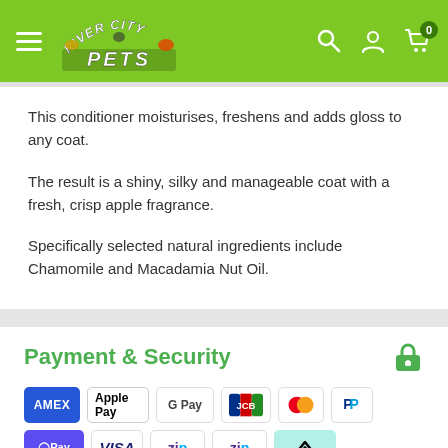[Figure (screenshot): River City Pets website header with green background, hamburger menu, logo, search, account, and cart icons]
This conditioner moisturises, freshens and adds gloss to any coat.
The result is a shiny, silky and manageable coat with a fresh, crisp apple fragrance.
Specifically selected natural ingredients include Chamomile and Macadamia Nut Oil.
Payment & Security
[Figure (other): Payment method icons: AMEX, Apple Pay, Google Pay, JCB, Mastercard, PayPal, OPay, VISA, Zip (x2), Afterpay]